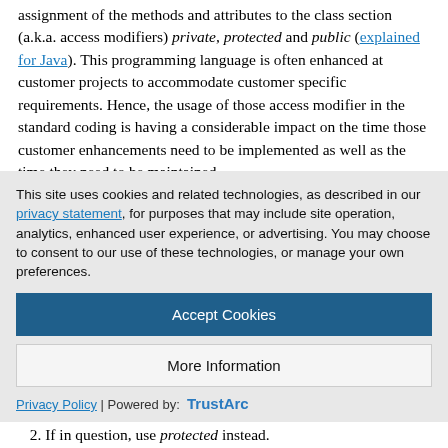assignment of the methods and attributes to the class section (a.k.a. access modifiers) private, protected and public (explained for Java). This programming language is often enhanced at customer projects to accommodate customer specific requirements. Hence, the usage of those access modifier in the standard coding is having a considerable impact on the time those customer enhancements need to be implemented as well as the time they need to be maintained.
I have noticed that the access modifiers private or protected are used in several cases where a less restrictive access modifier...
This site uses cookies and related technologies, as described in our privacy statement, for purposes that may include site operation, analytics, enhanced user experience, or advertising. You may choose to consent to our use of these technologies, or manage your own preferences.
Accept Cookies
More Information
Privacy Policy | Powered by: TrustArc
2. If in question, use protected instead.